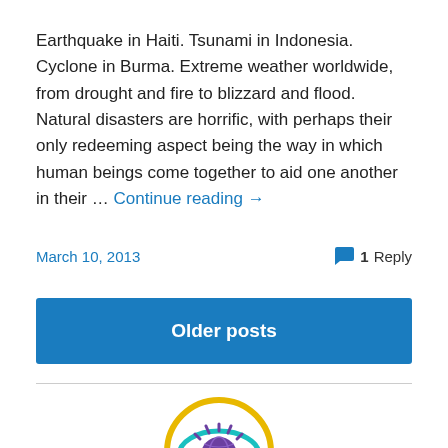Earthquake in Haiti. Tsunami in Indonesia. Cyclone in Burma. Extreme weather worldwide, from drought and fire to blizzard and flood. Natural disasters are horrific, with perhaps their only redeeming aspect being the way in which human beings come together to aid one another in their … Continue reading →
March 10, 2013
1 Reply
Older posts
[Figure (logo): Circular logo with a yellow outer ring, teal inner eye shape, purple/violet globe iris, and purple eyelash marks at top, with a yellow magnifying glass handle at bottom]